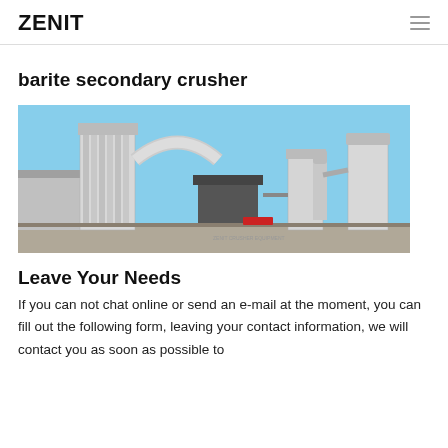ZENIT
barite secondary crusher
[Figure (photo): Industrial barite secondary crusher facility with large white industrial machinery, silos, conveyors and dust collectors against a blue sky]
Leave Your Needs
If you can not chat online or send an e-mail at the moment, you can fill out the following form, leaving your contact information, we will contact you as soon as possible to